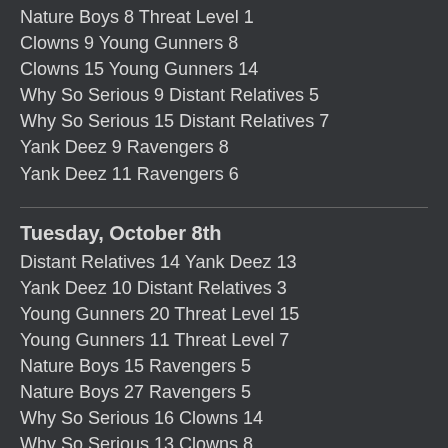Nature Boys 8 Threat Level 1
Clowns 9 Young Gunners 8
Clowns 15 Young Gunners 14
Why So Serious 9 Distant Relatives 5
Why So Serious 15 Distant Relatives 7
Yank Deez 9 Ravengers 8
Yank Deez 11 Ravengers 6
Tuesday, October 8th
Distant Relatives 14 Yank Deez 13
Yank Deez 10 Distant Relatives 3
Young Gunners 20 Threat Level 15
Young Gunners 11 Threat Level 7
Nature Boys 15 Ravengers 5
Nature Boys 27 Ravengers 5
Why So Serious 16 Clowns 14
Why So Serious 13 Clowns 8